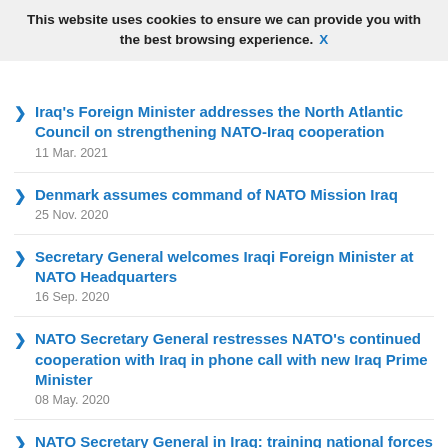NATO Secretary General joins meeting of foreign
30 Mar. 2021
This website uses cookies to ensure we can provide you with the best browsing experience.  X
Iraq's Foreign Minister addresses the North Atlantic Council on strengthening NATO-Iraq cooperation
11 Mar. 2021
Denmark assumes command of NATO Mission Iraq
25 Nov. 2020
Secretary General welcomes Iraqi Foreign Minister at NATO Headquarters
16 Sep. 2020
NATO Secretary General restresses NATO's continued cooperation with Iraq in phone call with new Iraq Prime Minister
08 May. 2020
NATO Secretary General in Iraq: training national forces is a key tool in fighting terrorism
17 Sep. 2019
NATO Secretary General arrives in Iraq with Supreme Allied Commander Europe